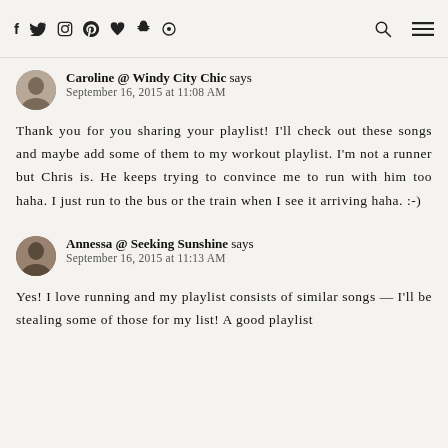Social media icons: f, twitter, instagram, pinterest, heart, snapchat, circle | search icon | menu icon
Caroline @ Windy City Chic says
September 16, 2015 at 11:08 AM

Thank you for you sharing your playlist! I'll check out these songs and maybe add some of them to my workout playlist. I'm not a runner but Chris is. He keeps trying to convince me to run with him too haha. I just run to the bus or the train when I see it arriving haha. :-)
Annessa @ Seeking Sunshine says
September 16, 2015 at 11:13 AM

Yes! I love running and my playlist consists of similar songs — I'll be stealing some of those for my list! A good playlist…